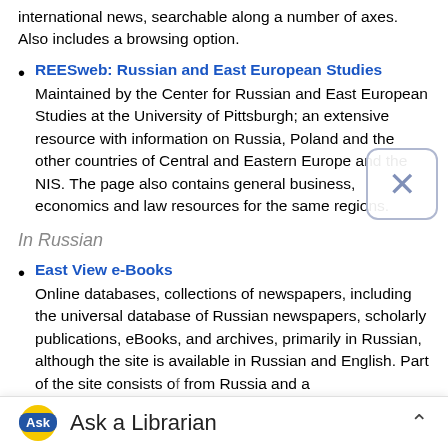international news, searchable along a number of axes. Also includes a browsing option.
REESweb: Russian and East European Studies — Maintained by the Center for Russian and East European Studies at the University of Pittsburgh; an extensive resource with information on Russia, Poland and the other countries of Central and Eastern Europe and the NIS. The page also contains general business, economics and law resources for the same regions.
In Russian
East View e-Books — Online databases, collections of newspapers, including the universal database of Russian newspapers, scholarly publications, eBooks, and archives, primarily in Russian, although the site is available in Russian and English. Part of the site consists of... from Russia and a...